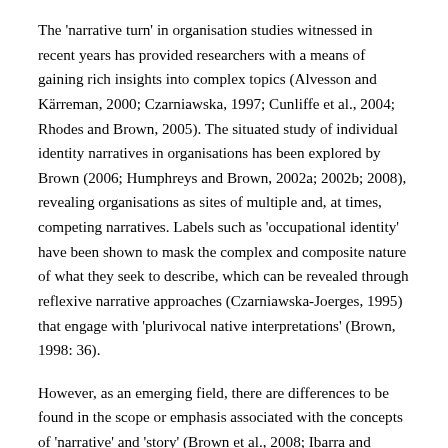The 'narrative turn' in organisation studies witnessed in recent years has provided researchers with a means of gaining rich insights into complex topics (Alvesson and Kärreman, 2000; Czarniawska, 1997; Cunliffe et al., 2004; Rhodes and Brown, 2005). The situated study of individual identity narratives in organisations has been explored by Brown (2006; Humphreys and Brown, 2002a; 2002b; 2008), revealing organisations as sites of multiple and, at times, competing narratives. Labels such as 'occupational identity' have been shown to mask the complex and composite nature of what they seek to describe, which can be revealed through reflexive narrative approaches (Czarniawska-Joerges, 1995) that engage with 'plurivocal native interpretations' (Brown, 1998: 36).
However, as an emerging field, there are differences to be found in the scope or emphasis associated with the concepts of 'narrative' and 'story' (Brown et al., 2008; Ibarra and Barbulescu, 2010). For the purposes of clarity, in this